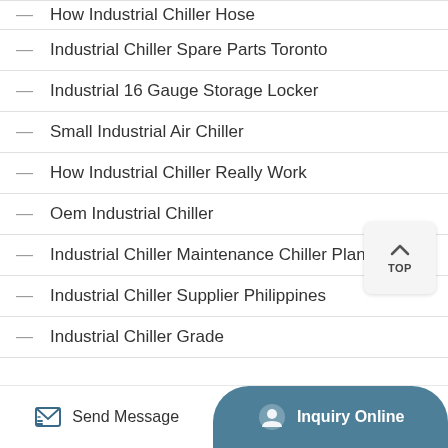How Industrial Chiller Hose
Industrial Chiller Spare Parts Toronto
Industrial 16 Gauge Storage Locker
Small Industrial Air Chiller
How Industrial Chiller Really Work
Oem Industrial Chiller
Industrial Chiller Maintenance Chiller Plant
Industrial Chiller Supplier Philippines
Industrial Chiller Grade
Send Message
Inquiry Online